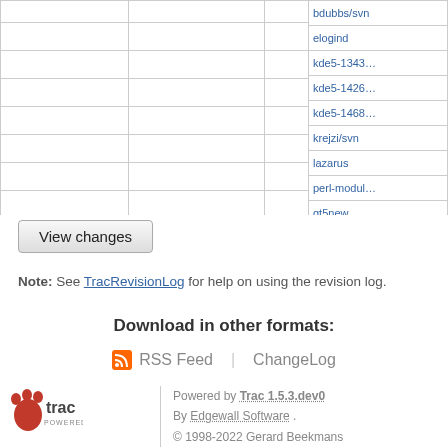| bdubbs/svn |  |
| elogind |  |
| kde5-1343 |  |
| kde5-1426 |  |
| kde5-1468 |  |
| krejzi/svn |  |
| lazarus |  |
| perl-modules |  |
| qt5new |  |
| 11177 | sys |
| 13485 | tru |
| upgradedb |  |
| v5_1-pre1 |  |
| xry111/intlt |  |
| xry111/test |  |
| 20220226 |  |
View changes
Note: See TracRevisionLog for help on using the revision log.
Download in other formats:
RSS Feed | ChangeLog
[Figure (logo): Trac Powered logo]
Powered by Trac 1.5.3.dev0
By Edgewall Software .
© 1998-2022 Gerard Beekmans